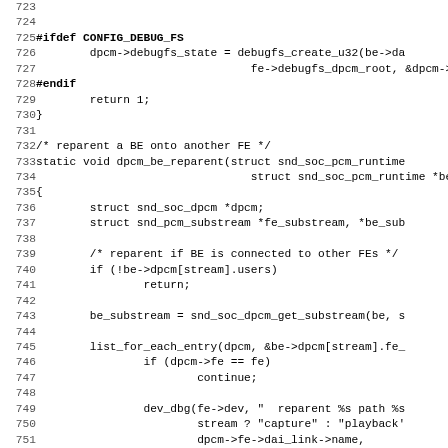Source code listing, lines 723-755, C code for dpcm_be_reparent function